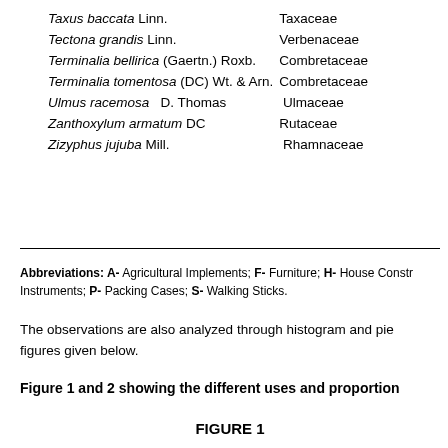| Species | Family |
| --- | --- |
| Taxus baccata Linn. | Taxaceae |
| Tectona grandis Linn. | Verbenaceae |
| Terminalia bellirica (Gaertn.) Roxb. | Combretaceae |
| Terminalia tomentosa (DC) Wt. & Arn. | Combretaceae |
| Ulmus racemosa   D. Thomas | Ulmaceae |
| Zanthoxylum armatum DC | Rutaceae |
| Zizyphus jujuba Mill. | Rhamnaceae |
Abbreviations: A- Agricultural Implements; F- Furniture; H- House Construction; M- Musical Instruments; P- Packing Cases; S- Walking Sticks.
The observations are also analyzed through histogram and pie chart as shown in figures given below.
Figure 1 and 2 showing the different uses and proportions of each species.
FIGURE 1